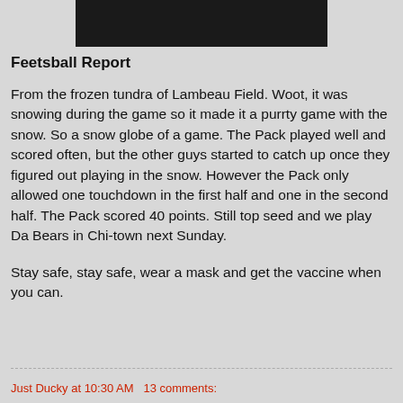[Figure (photo): Partially visible photo at top, with a dark black redacted/cropped bar across the bottom portion of the image area.]
Feetsball Report
From the frozen tundra of Lambeau Field. Woot, it was snowing during the game so it made it a purrty game with the snow. So a snow globe of a game. The Pack played well and scored often, but the other guys started to catch up once they figured out playing in the snow. However the Pack only allowed one touchdown in the first half and one in the second half. The Pack scored 40 points. Still top seed and we play Da Bears in Chi-town next Sunday.
Stay safe, stay safe, wear a mask and get the vaccine when you can.
Just Ducky at 10:30 AM   13 comments: